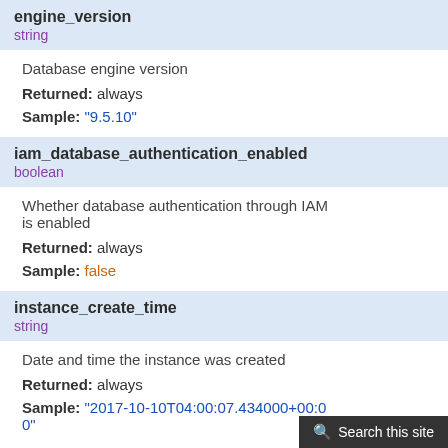engine_version
string
Database engine version
Returned: always
Sample: "9.5.10"
iam_database_authentication_enabled
boolean
Whether database authentication through IAM is enabled
Returned: always
Sample: false
instance_create_time
string
Date and time the instance was created
Returned: always
Sample: "2017-10-10T04:00:07.434000+00:00"